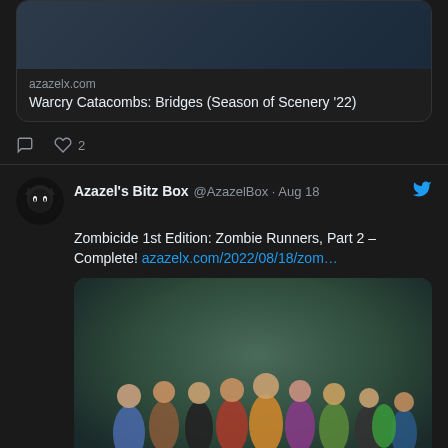[Figure (screenshot): Top portion of a tweet showing a link card with image for 'Warcry Catacombs: Bridges (Season of Scenery 22)' from azazelx.com, with reply and 2 likes actions]
azazelx.com
Warcry Catacombs: Bridges (Season of Scenery '22)
♡ 2
Azazel's Bitz Box @AzazelBox · Aug 18
Zombicide 1st Edition: Zombie Runners, Part 2 – Complete! azazelx.com/2022/08/18/zom…
[Figure (photo): Photo of painted Zombicide 1st Edition Zombie Runner miniature figures on dark bases, approximately 15 running zombie figures in colorful clothing]
azazelx.com
Zombicide 1st Edition: Zombie Runners, Part